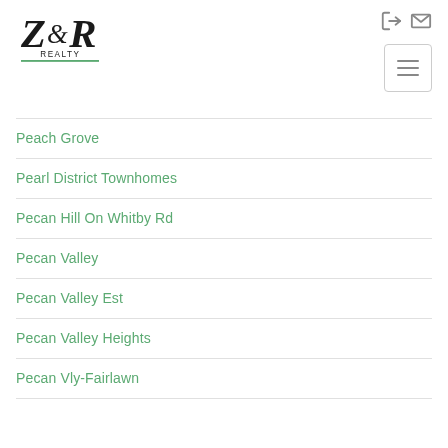Z&R Realty navigation header with logo and icons
Peach Grove
Pearl District Townhomes
Pecan Hill On Whitby Rd
Pecan Valley
Pecan Valley Est
Pecan Valley Heights
Pecan Vly-Fairlawn